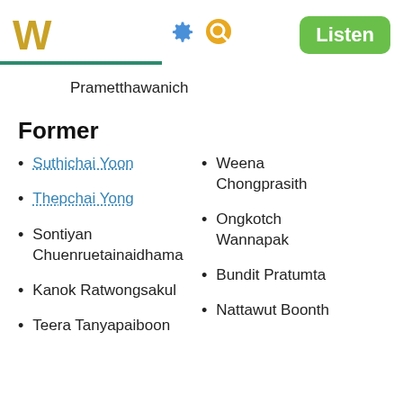W [gear icon] [search icon] Listen
Prametthawanich
Former
Suthichai Yoon
Thepchai Yong
Sontiyan Chuenruetainaidhama
Kanok Ratwongsakul
Teera Tanyapaiboon
Weena Chongprasith
Ongkotch Wannapak
Bundit Pratumta
Nattawut Boonth